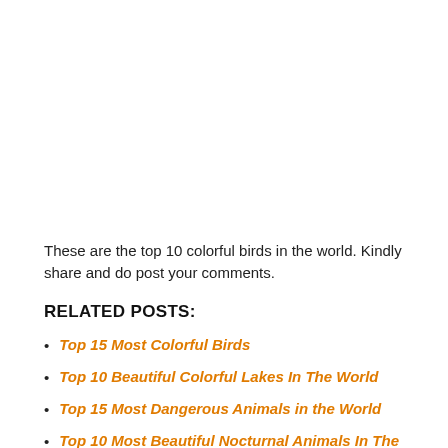These are the top 10 colorful birds in the world. Kindly share and do post your comments.
RELATED POSTS:
Top 15 Most Colorful Birds
Top 10 Beautiful Colorful Lakes In The World
Top 15 Most Dangerous Animals in the World
Top 10 Most Beautiful Nocturnal Animals In The World